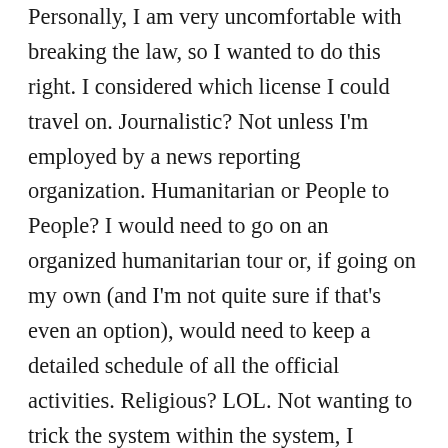Personally, I am very uncomfortable with breaking the law, so I wanted to do this right. I considered which license I could travel on. Journalistic? Not unless I'm employed by a news reporting organization. Humanitarian or People to People? I would need to go on an organized humanitarian tour or, if going on my own (and I'm not quite sure if that's even an option), would need to keep a detailed schedule of all the official activities. Religious? LOL. Not wanting to trick the system within the system, I decided to go without a license. (My previous two trips to Cuba were all legal, with a license and with a group. I enjoyed those trips very much, but still